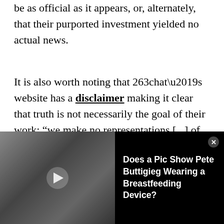be as official as it appears, or, alternately, that their purported investment yielded no actual news.
It is also worth noting that 263chat’s website has a disclaimer making it clear that truth is not necessarily the goal of their work: “we make no representations [...] of any kind, express or implied, about the completeness, accuracy, reliability, suitability or availability with respect
[Figure (screenshot): Black and white video thumbnail showing two people with a baby, overlaid with text 'Does a Pic Show Pete Buttigieg Wearing a Breastfeeding Device?' and a close button]
Regardless, the story originally published on